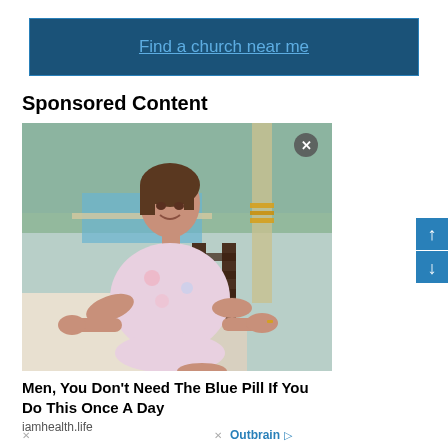[Figure (other): Dark blue banner advertisement with link 'Find a church near me']
Sponsored Content
[Figure (photo): Photo of a woman sitting in a chair outdoors near a pool with palm trees]
Men, You Don't Need The Blue Pill If You Do This Once A Day
iamhealth.life
[Figure (logo): Outbrain logo at bottom]